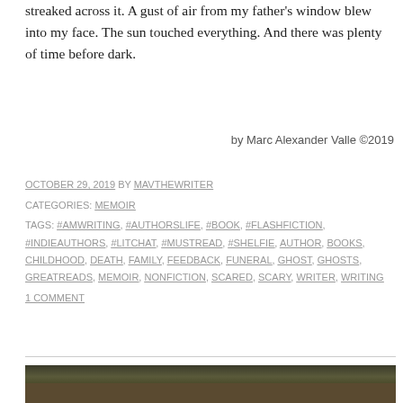streaked across it. A gust of air from my father's window blew into my face. The sun touched everything. And there was plenty of time before dark.
by Marc Alexander Valle ©2019
OCTOBER 29, 2019 BY MAVTHEWRITER
CATEGORIES: MEMOIR
TAGS: #AMWRITING, #AUTHORSLIFE, #BOOK, #FLASHFICTION, #INDIEAUTHORS, #LITCHAT, #MUSTREAD, #SHELFIE, AUTHOR, BOOKS, CHILDHOOD, DEATH, FAMILY, FEEDBACK, FUNERAL, GHOST, GHOSTS, GREATREADS, MEMOIR, NONFICTION, SCARED, SCARY, WRITER, WRITING
1 COMMENT
[Figure (photo): Dark outdoor photo showing ground/forest floor with dark foliage]